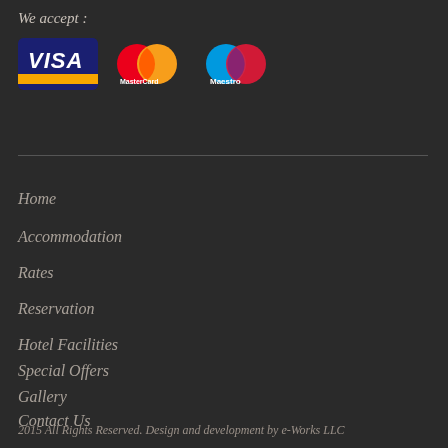We accept :
[Figure (logo): Payment card logos: VISA, MasterCard, Maestro]
Home
Accommodation
Rates
Reservation
Hotel Facilities
Special Offers
Gallery
Contact Us
2015 All Rights Reserved. Design and development by e-Works LLC